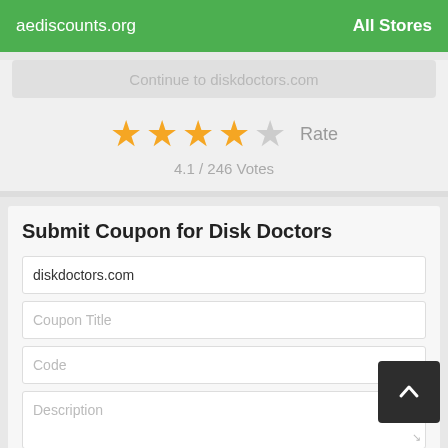aediscounts.org   All Stores
Continue to diskdoctors.com
[Figure (other): Star rating: 4 filled stars and 1 empty star, with 'Rate' label]
4.1 / 246 Votes
Submit Coupon for Disk Doctors
diskdoctors.com
Coupon Title
Code
Description
Expiration